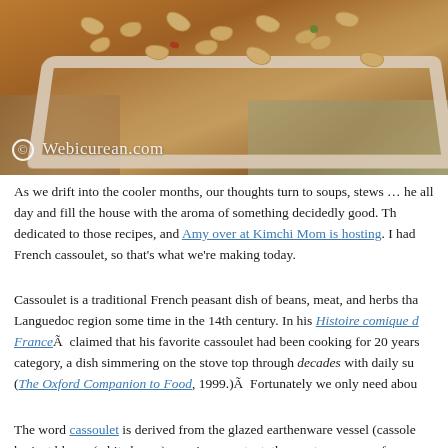[Figure (photo): Close-up photo of a white rectangular dish filled with cassoulet beans in a rich brown sauce, with green garnish visible. Watermark reads '© Webicurean.com' in bottom-left corner.]
As we drift into the cooler months, our thoughts turn to soups, stews … he all day and fill the house with the aroma of something decidedly good. Th dedicated to those recipes, and Amy over at Kimchi Mom is hosting. I had French cassoulet, so that's what we're making today.
Cassoulet is a traditional French peasant dish of beans, meat, and herbs tha Languedoc region some time in the 14th century. In his Histoire comique d France  claimed that his favorite cassoulet had been cooking for 20 years category, a dish simmering on the stove top through decades with daily su (The Oxford Companion to Food, 1999.)  Fortunately we only need abou
The word cassoulet is derived from the glazed earthenware vessel (cassole haricot blancs (white beans) remain a constant, the meats can range from p